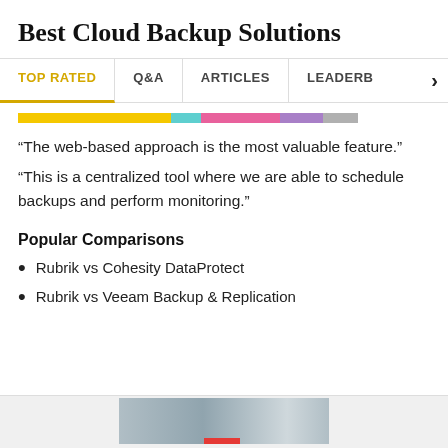Best Cloud Backup Solutions
[Figure (other): Navigation tab bar with tabs: TOP RATED (active, gold underline), Q&A, ARTICLES, LEADERB, and a right arrow. Below is a segmented color bar (gold, teal, pink, purple, gray).]
“The web-based approach is the most valuable feature.”
“This is a centralized tool where we are able to schedule backups and perform monitoring.”
Popular Comparisons
Rubrik vs Cohesity DataProtect
Rubrik vs Veeam Backup & Replication
[Figure (screenshot): Partial screenshot at the bottom of the page showing a gray background with a partial bar chart or image in blue/gray tones and a red bar element.]